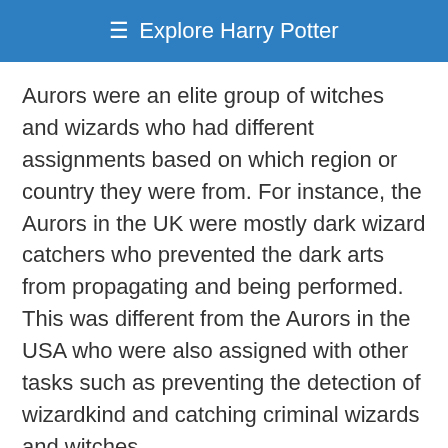☰ Explore Harry Potter
Aurors were an elite group of witches and wizards who had different assignments based on which region or country they were from. For instance, the Aurors in the UK were mostly dark wizard catchers who prevented the dark arts from propagating and being performed. This was different from the Aurors in the USA who were also assigned with other tasks such as preventing the detection of wizardkind and catching criminal wizards and witches.